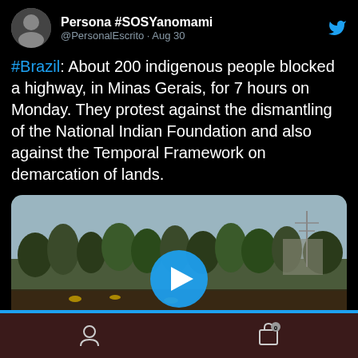[Figure (screenshot): Twitter/X post by Persona #SOSYanomami (@PersonalEscrito) dated Aug 30. Text: '#Brazil: About 200 indigenous people blocked a highway, in Minas Gerais, for 7 hours on Monday. They protest against the dismantling of the National Indian Foundation and also against the Temporal Framework on demarcation of lands.' Below the text is a video thumbnail showing a crowd of people with trees in the background and a blue play button overlay.]
On February 1, 2021, Our Online-Shop will be closed. All orders until January 31 will be delivered
We use cookies to ensure that we give you the best experience on our website. If you continue to use this site we will assume that you are happy with it.